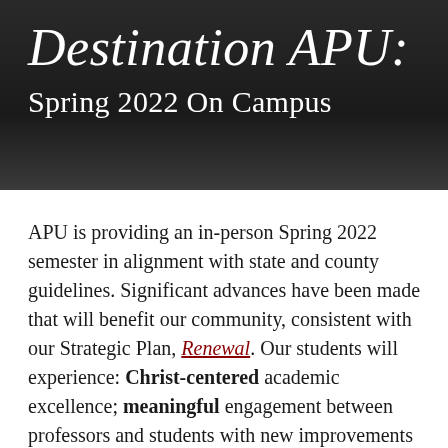Destination APU: Spring 2022 On Campus
APU is providing an in-person Spring 2022 semester in alignment with state and county guidelines. Significant advances have been made that will benefit our community, consistent with our Strategic Plan, Renewal. Our students will experience: Christ-centered academic excellence; meaningful engagement between professors and students with new improvements in classroom technology to support learning; robust wellness and health resources to navigate